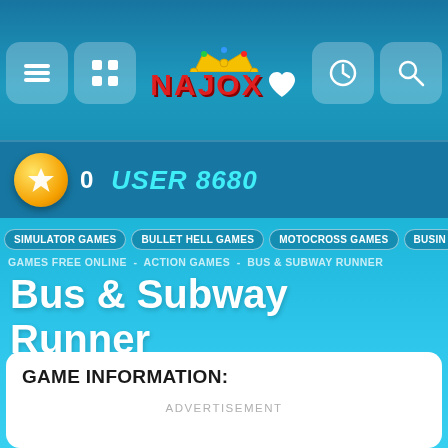NAJOX - navigation header with menu, grid, logo, favorites, history, search icons
0   USER 8680
SIMULATOR GAMES   BULLET HELL GAMES   MOTOCROSS GAMES   BUSIN...
GAMES FREE ONLINE  -  ACTION GAMES  -  BUS & SUBWAY RUNNER
Bus & Subway Runner
GAME INFORMATION:
ADVERTISEMENT